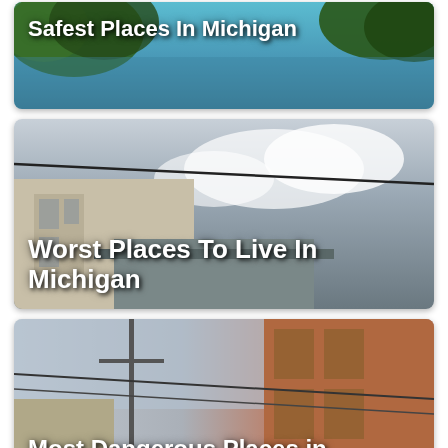[Figure (photo): Card image with green trees and blue sky background, title overlay reading 'Safest Places In Michigan']
[Figure (photo): Card image with building facade, cloudy sky, title overlay reading 'Worst Places To Live In Michigan']
[Figure (photo): Card image with street scene and brick buildings, title overlay reading 'Most Dangerous Places in Michigan']
[Figure (photo): Card image with red house and trees, partial title visible at bottom reading 'Richest Cities in Michigan']